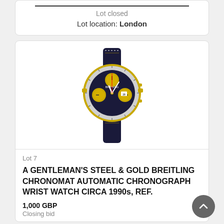Lot closed
Lot location: London
[Figure (photo): A gentleman's Breitling Chronomat wristwatch with dark navy blue dial and strap, gold sub-dials, steel and gold case, chronograph.]
Lot 7
A GENTLEMAN'S STEEL & GOLD BREITLING CHRONOMAT AUTOMATIC CHRONOGRAPH WRIST WATCH CIRCA 1990s, REF.
1,000 GBP
Closing bid